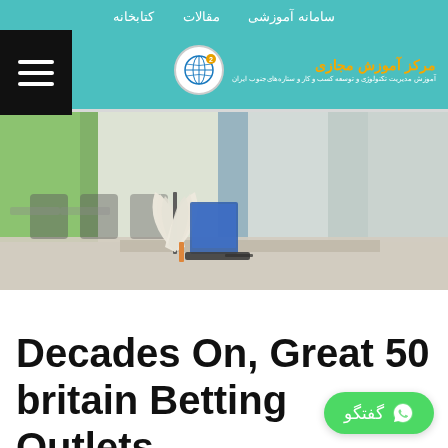سامانه آموزشی   مقالات   کتابخانه
[Figure (logo): Circular logo with globe graphic and Persian text: مرکز آموزش مجازی with subtitle text in Persian]
[Figure (photo): Hero image of a classroom with an open book and laptop on a desk in the foreground, blurred classroom chairs and green/white walls in background]
Decades On, Great 50 britain Betting Outlets
گفتگو